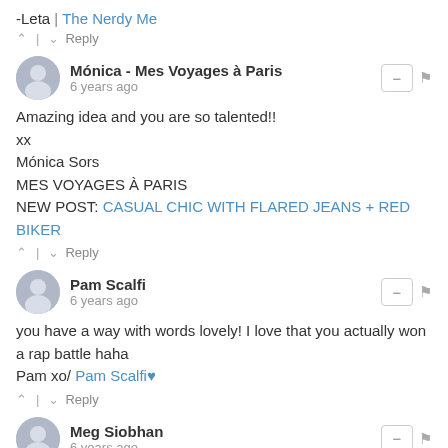-Leta | The Nerdy Me
^ | v  Reply
Mónica - Mes Voyages à Paris
6 years ago
Amazing idea and you are so talented!!
xx
Mónica Sors
MES VOYAGES À PARIS
NEW POST: CASUAL CHIC WITH FLARED JEANS + RED BIKER
^ | v  Reply
Pam Scalfi
6 years ago
you have a way with words lovely! I love that you actually won a rap battle haha
Pam xo/ Pam Scalfi♥
^ | v  Reply
Meg Siobhan
6 years ago